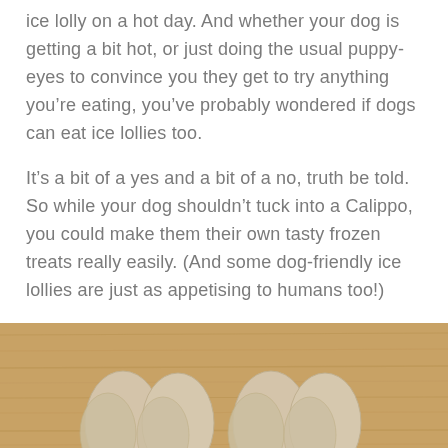ice lolly on a hot day. And whether your dog is getting a bit hot, or just doing the usual puppy-eyes to convince you they get to try anything you're eating, you've probably wondered if dogs can eat ice lollies too.
It's a bit of a yes and a bit of a no, truth be told. So while your dog shouldn't tuck into a Calippo, you could make them their own tasty frozen treats really easily. (And some dog-friendly ice lollies are just as appetising to humans too!)
[Figure (photo): Overhead view of dog-friendly frozen ice lolly treats on a wooden cutting board. The treats are oval/paw-shaped, light beige/cream colored, arranged in two groups on a warm-toned bamboo wood surface.]